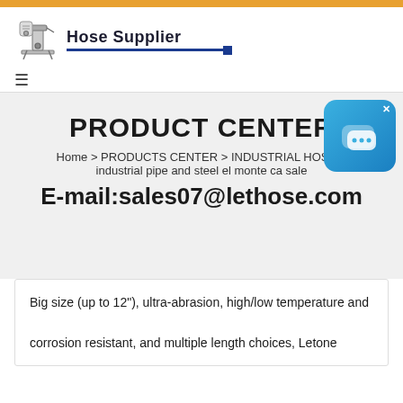Hose Supplier
PRODUCT CENTER
Home > PRODUCTS CENTER > INDUSTRIAL HOSE > industrial pipe and steel el monte ca sale
E-mail:sales07@lethose.com
Big size (up to 12"), ultra-abrasion, high/low temperature and corrosion resistant, and multiple length choices, Letone